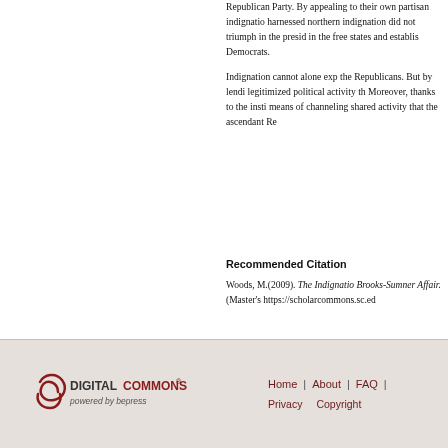Republican Party. By appealing to their own partisan indignation, harnessed northern indignation did not triumph in the presidential in the free states and established Democrats.
Indignation cannot alone explain the Republicans. But by lending legitimized political activity that Moreover, thanks to the institutional means of channeling shared activity that the ascendant Re...
Recommended Citation
Woods, M.(2009). The Indignation Brooks-Sumner Affair. (Master's https://scholarcommons.sc.ed...
Home | About | FAQ | Privacy  Copyright — DigitalCommons powered by bepress